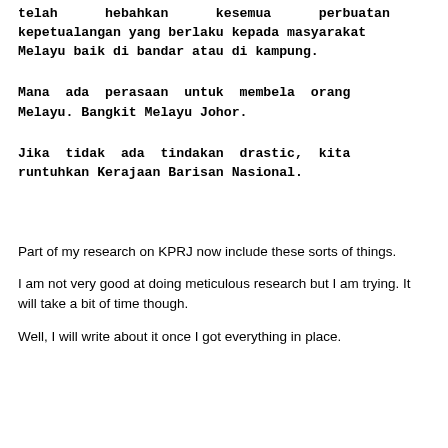telah hebahkan kesemua perbuatan kepetualangan yang berlaku kepada masyarakat Melayu baik di bandar atau di kampung.
Mana ada perasaan untuk membela orang Melayu. Bangkit Melayu Johor.
Jika tidak ada tindakan drastic, kita runtuhkan Kerajaan Barisan Nasional.
Part of my research on KPRJ now include these sorts of things.
I am not very good at doing meticulous research but I am trying. It will take a bit of time though.
Well, I will write about it once I got everything in place.